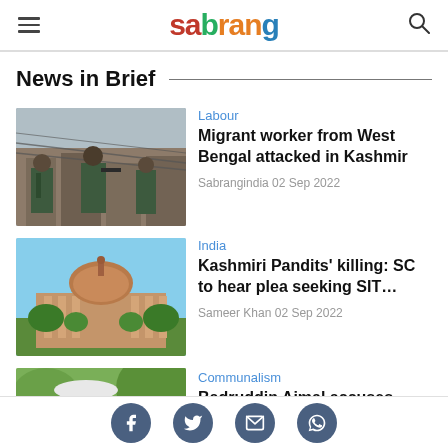sabrang — navigation header with hamburger menu and search icon
News in Brief
[Figure (photo): Armed security personnel with barbed wire in Kashmir]
Labour
Migrant worker from West Bengal attacked in Kashmir
Sabrangindia 02 Sep 2022
[Figure (photo): Supreme Court of India building with dome]
India
Kashmiri Pandits' killing: SC to hear plea seeking SIT…
Sameer Khan 02 Sep 2022
[Figure (photo): Person in white cap with hand gesture — Communalism category]
Communalism
Badruddin Ajmal accuses
Social share icons: Facebook, Twitter, Email, WhatsApp